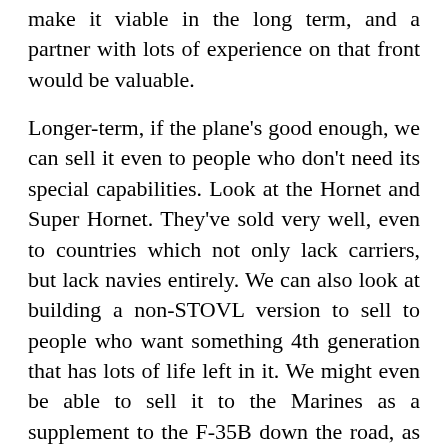make it viable in the long term, and a partner with lots of experience on that front would be valuable.
Longer-term, if the plane's good enough, we can sell it even to people who don't need its special capabilities. Look at the Hornet and Super Hornet. They've sold very well, even to countries which not only lack carriers, but lack navies entirely. We can also look at building a non-STOVL version to sell to people who want something 4th generation that has lots of life left in it. We might even be able to sell it to the Marines as a supplement to the F-35B down the road, as we can build a version with a back seat. That's helpful for some tasks, and it means they get a STOVL trainer.
John Schilling: The great danger in aircraft carriers,